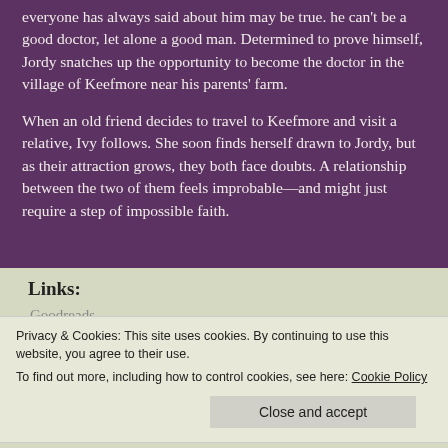everyone has always said about him may be true. he can't be a good doctor, let alone a good man. Determined to prove himself, Jordy snatches up the opportunity to become the doctor in the village of Keefmore near his parents' farm.
When an old friend decides to travel to Keefmore and visit a relative, Ivy follows. She soon finds herself drawn to Jordy, but as their attraction grows, they both face doubts. A relationship between the two of them feels improbable—and might just require a step of impossible faith.
Links:
Goodreads
Privacy & Cookies: This site uses cookies. By continuing to use this website, you agree to their use.
To find out more, including how to control cookies, see here: Cookie Policy
Close and accept
Kellyn Roth is a historical romance & women's fiction